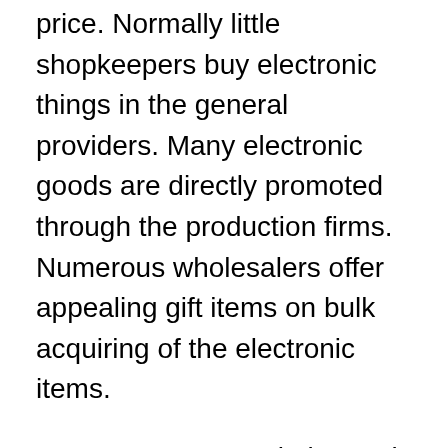price. Normally little shopkeepers buy electronic things in the general providers. Many electronic goods are directly promoted through the production firms. Numerous wholesalers offer appealing gift items on bulk acquiring of the electronic items.
You can get general electronic digital goods either from a digital store in your neighborhood or from an internet based store. Several electronic retailers are now promoting their items on the internet. As a result shopping coming from a general dealership is quite